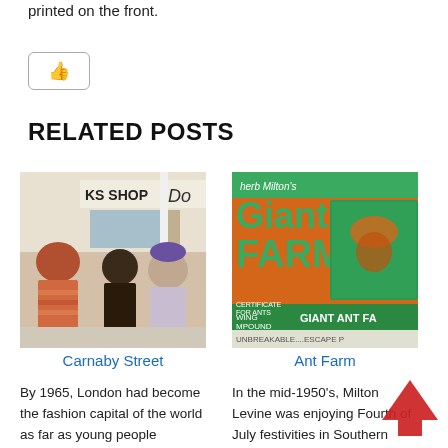printed on the front.
[Figure (other): Like/thumbs up button]
RELATED POSTS
[Figure (photo): Carnaby Street photo showing people in 1960s fashion on a London street]
Carnaby Street
By 1965, London had become the fashion capital of the world as far as young people
[Figure (photo): Ant Farm box/packaging illustration showing Giant Ant Farm product by Milton Levine]
Ant Farm
In the mid-1950's, Milton Levine was enjoying Fourth of July festivities in Southern California's San Fernando